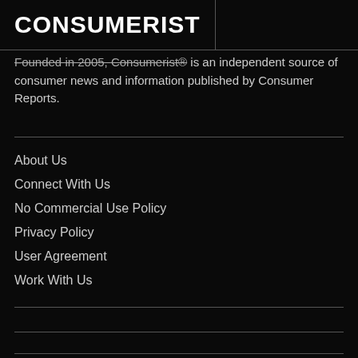CONSUMERIST
Founded in 2005, Consumerist® is an independent source of consumer news and information published by Consumer Reports.
About Us
Connect With Us
No Commercial Use Policy
Privacy Policy
User Agreement
Work With Us